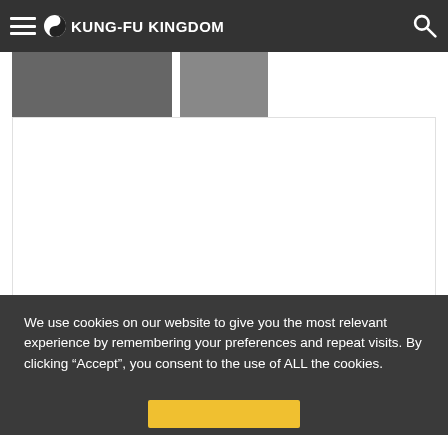KUNG-FU KINGDOM
[Figure (screenshot): Partially visible images in a content strip below the navigation bar]
[Figure (screenshot): White content area, large blank white box]
We use cookies on our website to give you the most relevant experience by remembering your preferences and repeat visits. By clicking “Accept”, you consent to the use of ALL the cookies.